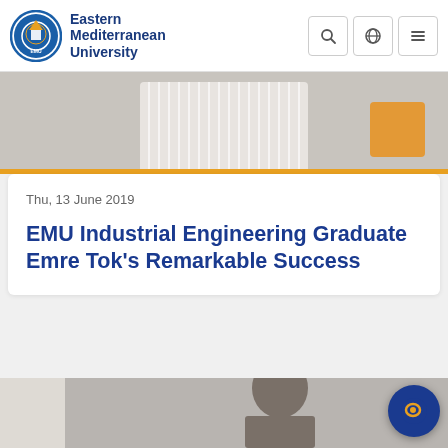Eastern Mediterranean University
[Figure (photo): Person in white striped shirt seated, with orange accent, top portion of article hero image]
Thu, 13 June 2019
EMU Industrial Engineering Graduate Emre Tok’s Remarkable Success
[Figure (photo): Portrait photo of a person, partially visible at bottom of page]